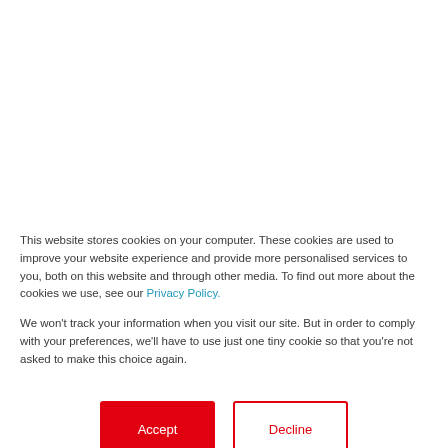[Figure (other): Red horizontal banner bar across the page]
This website stores cookies on your computer. These cookies are used to improve your website experience and provide more personalised services to you, both on this website and through other media. To find out more about the cookies we use, see our Privacy Policy.
We won't track your information when you visit our site. But in order to comply with your preferences, we'll have to use just one tiny cookie so that you're not asked to make this choice again.
Accept | Decline